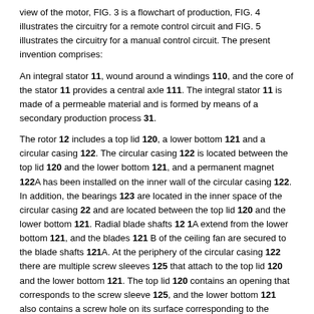view of the motor, FIG. 3 is a flowchart of production, FIG. 4 illustrates the circuitry for a remote control circuit and FIG. 5 illustrates the circuitry for a manual control circuit. The present invention comprises:
An integral stator 11, wound around a windings 110, and the core of the stator 11 provides a central axle 111. The integral stator 11 is made of a permeable material and is formed by means of a secondary production process 31.
The rotor 12 includes a top lid 120, a lower bottom 121 and a circular casing 122. The circular casing 122 is located between the top lid 120 and the lower bottom 121, and a permanent magnet 122A has been installed on the inner wall of the circular casing 122. In addition, the bearings 123 are located in the inner space of the circular casing 22 and are located between the top lid 120 and the lower bottom 121. Radial blade shafts 12 1A extend from the lower bottom 121, and the blades 121 B of the ceiling fan are secured to the blade shafts 121A. At the periphery of the circular casing 122 there are multiple screw sleeves 125 that attach to the top lid 120 and the lower bottom 121. The top lid 120 contains an opening that corresponds to the screw sleeve 125, and the lower bottom 121 also contains a screw hole on its surface corresponding to the screw sleeve 125. A screw 124 can be passed through the opening of the top lid 120 and screw sleeve 125 and secured to the screw hole of the lower bottom 121. A receiver carrier 126 is located above the top lid 120 and comprises an inner receiver 126A. A